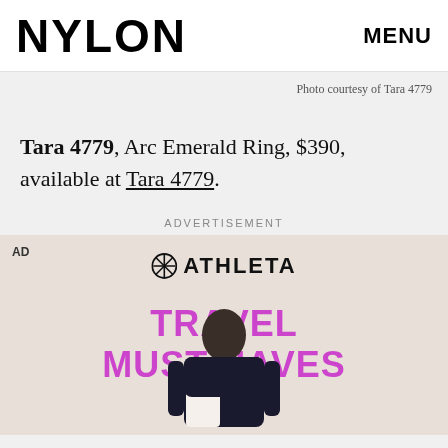NYLON   MENU
Photo courtesy of Tara 4779
Tara 4779, Arc Emerald Ring, $390, available at Tara 4779.
ADVERTISEMENT
[Figure (photo): Athleta advertisement showing Travel Must-Haves with a person in a suit, beige background]